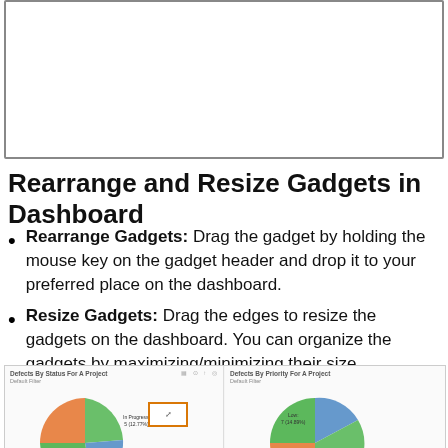[Figure (screenshot): Screenshot of a dashboard interface, partially visible at the top of the page]
Rearrange and Resize Gadgets in Dashboard
Rearrange Gadgets: Drag the gadget by holding the mouse key on the gadget header and drop it to your preferred place on the dashboard.
Resize Gadgets: Drag the edges to resize the gadgets on the dashboard. You can organize the gadgets by maximizing/minimizing their size.
[Figure (screenshot): Dashboard screenshot showing two pie charts: 'Defects By Status For A Project' (Default Filter) on the left with an 'In Progress: 5 (12.77%)' label, and 'Defects By Priority For A Project' (Default Filter) on the right with a 'Low: 7 (14.89%)' label. A resize handle icon is visible between the charts.]